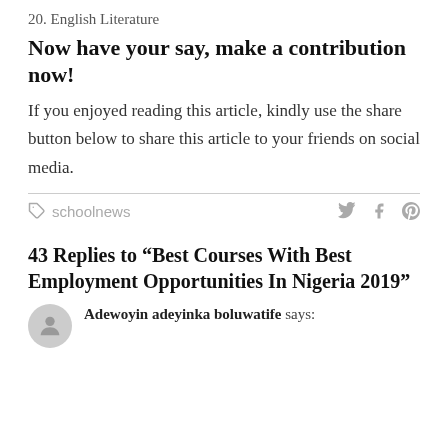20. English Literature
Now have your say, make a contribution now!
If you enjoyed reading this article, kindly use the share button below to share this article to your friends on social media.
schoolnews
43 Replies to “Best Courses With Best Employment Opportunities In Nigeria 2019”
Adewoyin adeyinka boluwatife says: